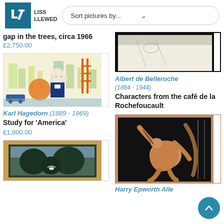Liss Llewelyn — Sort pictures by...
gap in the trees, circa 1966
£2,750.00
[Figure (illustration): Artwork: Study for America by Karl Hagedorn — colourful illustration of George Washington figure with city/industrial background]
Karl Hagedorn (1889 - 1969)
Study for 'America'
£1,800.00
[Figure (photo): Partial view of a painting in a gold frame showing trees and a bird — bottom of page]
[Figure (photo): Partial top: black-framed artwork with light background — Albert de Belleroche]
Albert de Belleroche (1864 - 1944)
Characters from the café de la Rochefoucault
[Figure (illustration): Woodcut-style print on black background showing a crouching/dancing figure in orange/tan tones — Harry Epworth Allen]
Harry Epworth Allen